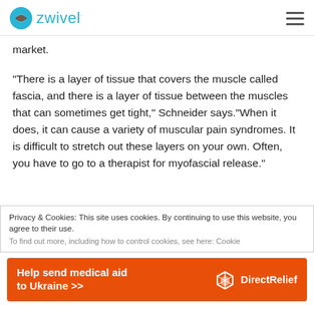zwivel
market.
“There is a layer of tissue that covers the muscle called fascia, and there is a layer of tissue between the muscles that can sometimes get tight,” Schneider says.“When it does, it can cause a variety of muscular pain syndromes. It is difficult to stretch out these layers on your own. Often, you have to go to a therapist for myofascial release.”
Privacy & Cookies: This site uses cookies. By continuing to use this website, you agree to their use. To find out more, including how to control cookies, see here: Cookie
Help send medical aid to Ukraine >> DirectRelief